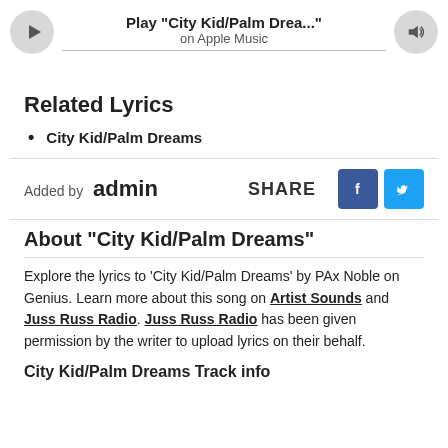[Figure (other): Apple Music player widget showing Play 'City Kid/Palm Drea...' with play button, progress bar, and volume icon]
Related Lyrics
City Kid/Palm Dreams
Added by admin
SHARE
[Figure (other): Facebook share button (blue square with 'f')]
[Figure (other): Twitter share button (light blue square with bird icon)]
About "City Kid/Palm Dreams"
Explore the lyrics to ‘City Kid/Palm Dreams’ by PAx Noble on Genius. Learn more about this song on Artist Sounds and Juss Russ Radio. Juss Russ Radio has been given permission by the writer to upload lyrics on their behalf.
City Kid/Palm Dreams Track info